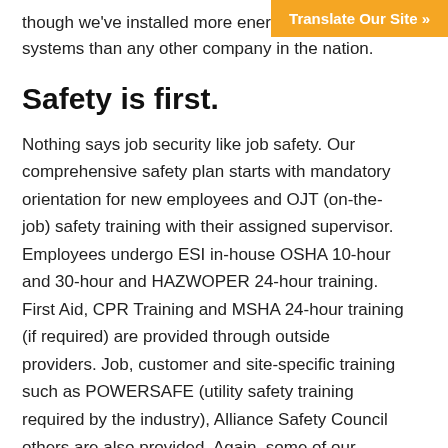though we've installed more energy systems than any other company in the nation.
Translate Our Site »
Safety is first.
Nothing says job security like job safety. Our comprehensive safety plan starts with mandatory orientation for new employees and OJT (on-the-job) safety training with their assigned supervisor. Employees undergo ESI in-house OSHA 10-hour and 30-hour and HAZWOPER 24-hour training. First Aid, CPR Training and MSHA 24-hour training (if required) are provided through outside providers. Job, customer and site-specific training such as POWERSAFE (utility safety training required by the industry), Alliance Safety Council others are also provided. Again, some of our employees will obtain TWIC (Transportation Worker Identification Credentials) because of the work we do in